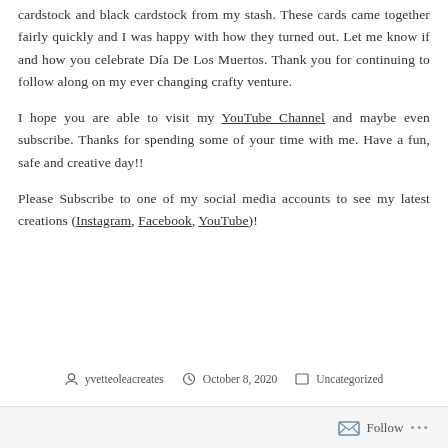cardstock and black cardstock from my stash. These cards came together fairly quickly and I was happy with how they turned out. Let me know if and how you celebrate Día De Los Muertos. Thank you for continuing to follow along on my ever changing crafty venture.
I hope you are able to visit my YouTube Channel and maybe even subscribe. Thanks for spending some of your time with me. Have a fun, safe and creative day!!
Please Subscribe to one of my social media accounts to see my latest creations (Instagram, Facebook, YouTube)!
yvetteoleacreates   October 8, 2020   Uncategorized